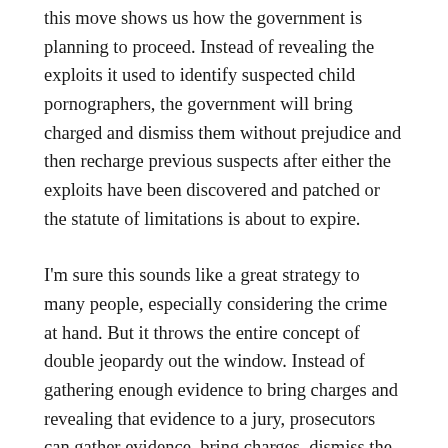this move shows us how the government is planning to proceed. Instead of revealing the exploits it used to identify suspected child pornographers, the government will bring charged and dismiss them without prejudice and then recharge previous suspects after either the exploits have been discovered and patched or the statute of limitations is about to expire.
I'm sure this sounds like a great strategy to many people, especially considering the crime at hand. But it throws the entire concept of double jeopardy out the window. Instead of gathering enough evidence to bring charges and revealing that evidence to a jury, prosecutors can gather evidence, bring charges, dismiss the case without prejudice, and then bide their time until they decide to press charges again (where they may decide to just repeat the cycle or actually prosecute the suspect). Meanwhile